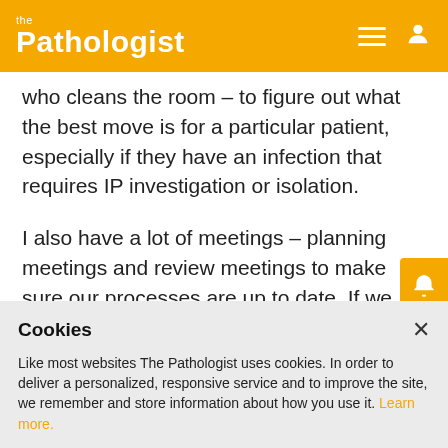the Pathologist
who cleans the room – to figure out what the best move is for a particular patient, especially if they have an infection that requires IP investigation or isolation.
I also have a lot of meetings – planning meetings and review meetings to make sure our processes are up to date. If we have, in the last three months, had a unit with – for example – a higher incidence of C. diff infections than before, we do an action
Cookies
Like most websites The Pathologist uses cookies. In order to deliver a personalized, responsive service and to improve the site, we remember and store information about how you use it. Learn more.